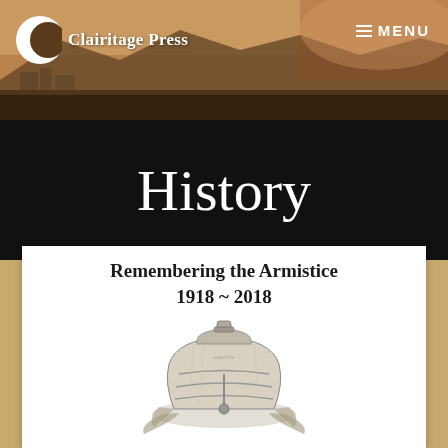Clairitage Press | MENU
History
[Figure (illustration): Book cover illustration showing a bell with text 'Remembering the Armistice 1918 ~ 2018' and a detailed engraving of a bell with decorative elements]
Remembering the Armistice
1918 ~ 2018